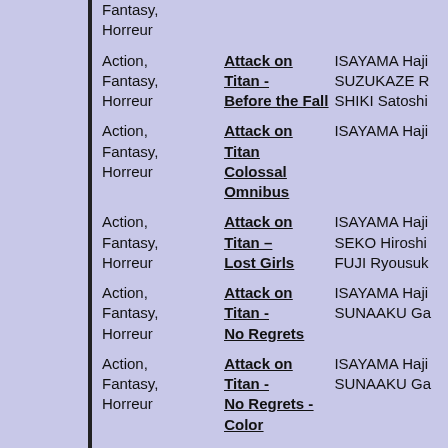| Genre | Title | Author |
| --- | --- | --- |
| Fantasy, Horreur |  |  |
| Action, Fantasy, Horreur | Attack on Titan - Before the Fall | ISAYAMA Haji, SUZUKAZE R, SHIKI Satoshi |
| Action, Fantasy, Horreur | Attack on Titan Colossal Omnibus | ISAYAMA Haji |
| Action, Fantasy, Horreur | Attack on Titan – Lost Girls | ISAYAMA Haji, SEKO Hiroshi, FUJI Ryousuk |
| Action, Fantasy, Horreur | Attack on Titan - No Regrets | ISAYAMA Haji, SUNAAKU Ga |
| Action, Fantasy, Horreur | Attack on Titan - No Regrets - Color | ISAYAMA Haji, SUNAAKU Ga |
| Fantasy, Humour | Attack on Titan - Titan Junior High | ISAYAMA Haji, NAKAGAWA S |
| Fantasy | Avalon The | ROBERTS Ra |